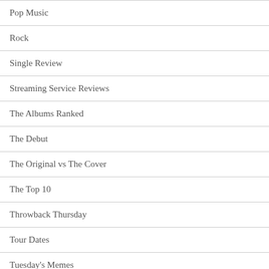Pop Music
Rock
Single Review
Streaming Service Reviews
The Albums Ranked
The Debut
The Original vs The Cover
The Top 10
Throwback Thursday
Tour Dates
Tuesday's Memes
Turntables & Vinyl
Uncategorized